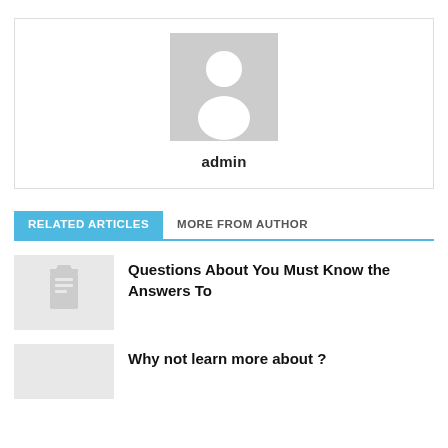[Figure (illustration): Profile card with generic user avatar placeholder (grey square with white person silhouette) and the name 'admin' below it in bold.]
admin
RELATED ARTICLES
MORE FROM AUTHOR
Questions About You Must Know the Answers To
Why not learn more about ?